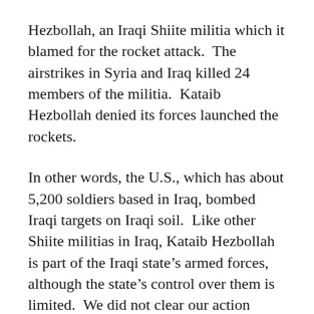Hezbollah, an Iraqi Shiite militia which it blamed for the rocket attack.  The airstrikes in Syria and Iraq killed 24 members of the militia.  Kataib Hezbollah denied its forces launched the rockets.
In other words, the U.S., which has about 5,200 soldiers based in Iraq, bombed Iraqi targets on Iraqi soil.  Like other Shiite militias in Iraq, Kataib Hezbollah is part of the Iraqi state’s armed forces, although the state’s control over them is limited.  We did not clear our action beforehand with the Iraqi government.
To put this in perspective, imagine an American soldier had been killed in a terrorist